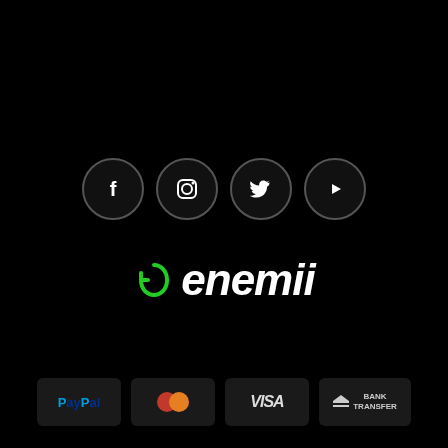[Figure (illustration): Social media icons in circles: Facebook (f), Instagram (camera), Twitter (bird), YouTube (play button) on black background]
[Figure (logo): Enemii logo with green leaf/arrow icon and white italic bold text 'enemii' on black background]
[Figure (illustration): Payment method icons: PayPal, MasterCard, VISA, Bank Transfer on dark rounded rectangles]